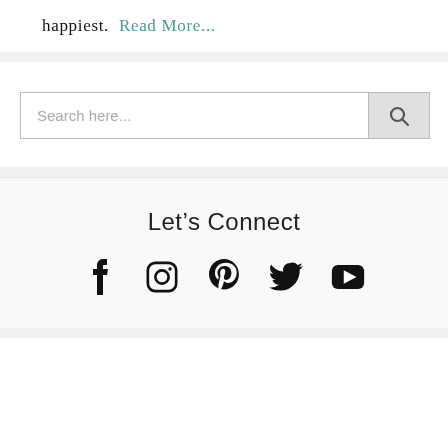happiest.  Read More...
[Figure (screenshot): Search bar with placeholder text 'Search here...' and a search button with magnifying glass icon]
Let's Connect
[Figure (infographic): Five social media icons: Facebook, Instagram, Pinterest, Twitter, YouTube]